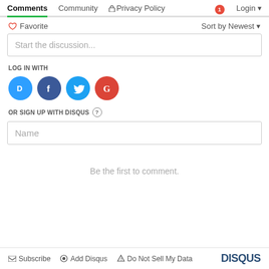Comments  Community  Privacy Policy  1  Login
Favorite  Sort by Newest
Start the discussion...
LOG IN WITH
[Figure (illustration): Four social login icons: Disqus (blue circle with D), Facebook (dark blue circle with f), Twitter (blue circle with bird), Google (red circle with G)]
OR SIGN UP WITH DISQUS ?
Name
Be the first to comment.
Subscribe  Add Disqus  Do Not Sell My Data  DISQUS